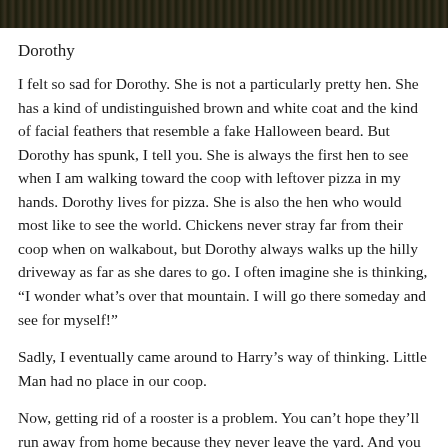[Figure (photo): Dark textured background image at the top of the page, showing foliage or natural dark ground cover.]
Dorothy
I felt so sad for Dorothy. She is not a particularly pretty hen. She has a kind of undistinguished brown and white coat and the kind of facial feathers that resemble a fake Halloween beard. But Dorothy has spunk, I tell you. She is always the first hen to see when I am walking toward the coop with leftover pizza in my hands. Dorothy lives for pizza. She is also the hen who would most like to see the world. Chickens never stray far from their coop when on walkabout, but Dorothy always walks up the hilly driveway as far as she dares to go. I often imagine she is thinking, “I wonder what’s over that mountain. I will go there someday and see for myself!”
Sadly, I eventually came around to Harry’s way of thinking. Little Man had no place in our coop.
Now, getting rid of a rooster is a problem. You can’t hope they’ll run away from home because they never leave the yard. And you can’t give away a rooster, I